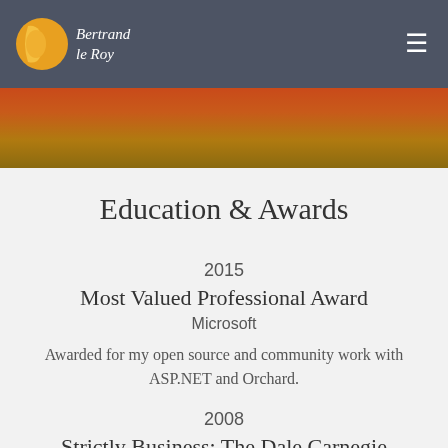Bertrand le Roy
[Figure (illustration): Decorative image band with warm orange, red, and gold tones]
Education & Awards
2015
Most Valued Professional Award
Microsoft
Awarded for my open source and community work with ASP.NET and Orchard.
2008
Strictly Business: The Dale Carnegie